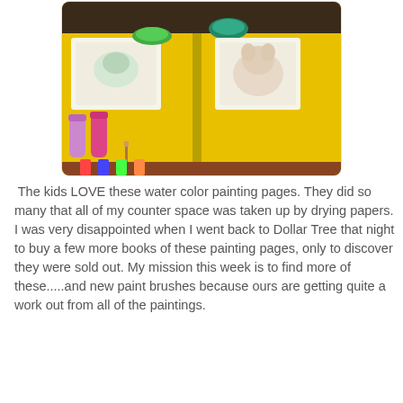[Figure (photo): Top-down photo of children's watercolor painting activity with yellow trays, paint bottles, brushes, and coloring pages on a table]
The kids LOVE these water color painting pages. They did so many that all of my counter space was taken up by drying papers. I was very disappointed when I went back to Dollar Tree that night to buy a few more books of these painting pages, only to discover they were sold out. My mission this week is to find more of these.....and new paint brushes because ours are getting quite a work out from all of the paintings.
[Figure (photo): Four completed watercolor paintings displayed on a windowsill, showing colorful scenes of cartoon-like characters with greens, blues, and other bright colors]